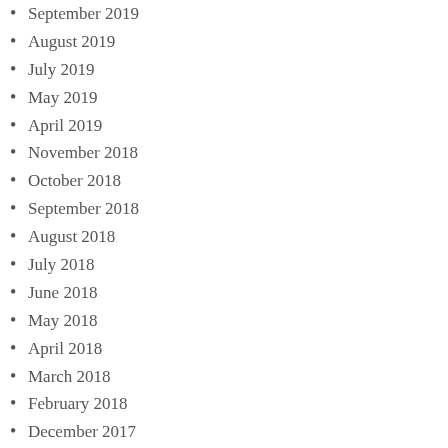September 2019
August 2019
July 2019
May 2019
April 2019
November 2018
October 2018
September 2018
August 2018
July 2018
June 2018
May 2018
April 2018
March 2018
February 2018
December 2017
November 2017
October 2017
September 2017
August 2017
July 2017